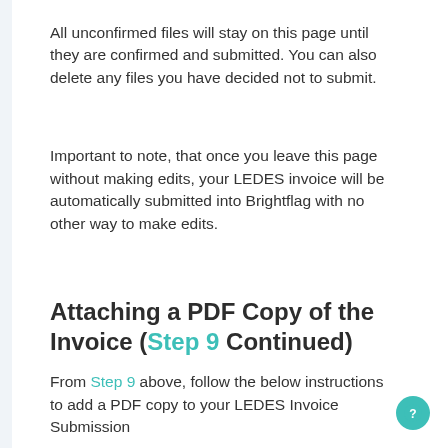All unconfirmed files will stay on this page until they are confirmed and submitted. You can also delete any files you have decided not to submit.
Important to note, that once you leave this page without making edits, your LEDES invoice will be automatically submitted into Brightflag with no other way to make edits.
Attaching a PDF Copy of the Invoice (Step 9 Continued)
From Step 9 above, follow the below instructions to add a PDF copy to your LEDES Invoice Submission